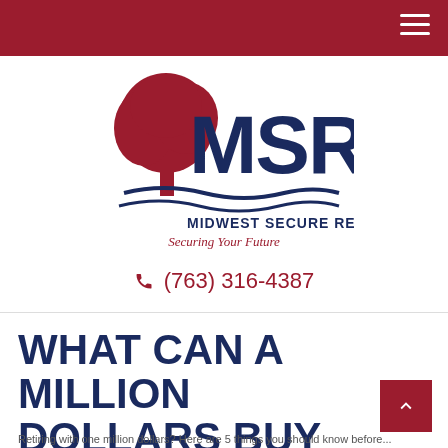MSR - Midwest Secure Retirement navigation header
[Figure (logo): MSR Midwest Secure Retirement logo with red tree and blue wave, tagline 'Securing Your Future']
(763) 316-4387
WHAT CAN A MILLION DOLLARS BUY YOU?
Partial body text visible at bottom of page